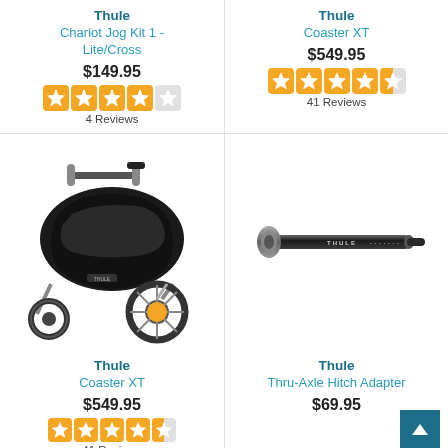Thule
Chariot Jog Kit 1 - Lite/Cross
$149.95
4 Reviews
Thule
Coaster XT
$549.95
41 Reviews
[Figure (photo): Thule Coaster XT black double jogging stroller/bike trailer with large rear wheels and front jogger wheel]
[Figure (photo): Thule Thru-Axle Hitch Adapter, a black cylindrical adapter rod]
Thule
Coaster XT
$549.95
41 Reviews
Thule
Thru-Axle Hitch Adapter
$69.95